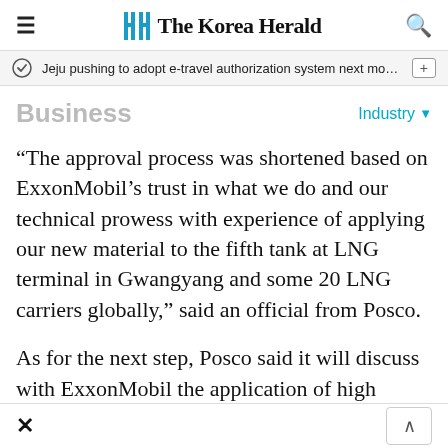The Korea Herald
Jeju pushing to adopt e-travel authorization system next month f…
Business
Industry
“The approval process was shortened based on ExxonMobil’s trust in what we do and our technical prowess with experience of applying our new material to the fifth tank at LNG terminal in Gwangyang and some 20 LNG carriers globally,” said an official from Posco.
As for the next step, Posco said it will discuss with ExxonMobil the application of high